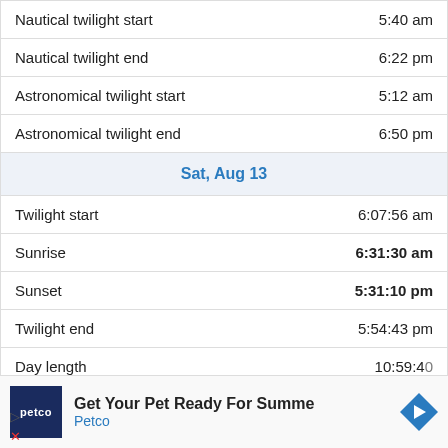| Event | Time |
| --- | --- |
| Nautical twilight start | 5:40 am |
| Nautical twilight end | 6:22 pm |
| Astronomical twilight start | 5:12 am |
| Astronomical twilight end | 6:50 pm |
| Sat, Aug 13 |  |
| Twilight start | 6:07:56 am |
| Sunrise | 6:31:30 am |
| Sunset | 5:31:10 pm |
| Twilight end | 5:54:43 pm |
| Day length | 10:59:40 |
[Figure (infographic): Petco advertisement: Get Your Pet Ready For Summer — Petco, with Petco logo and directional arrow icon]